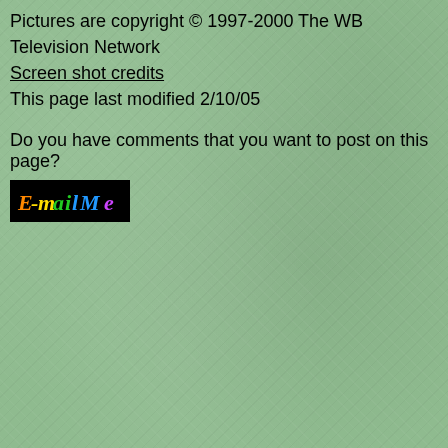Pictures are copyright © 1997-2000 The WB Television Network
Screen shot credits
This page last modified 2/10/05
Do you have comments that you want to post on this page?
[Figure (illustration): Black button/banner with colorful text reading 'E-mail Me' in orange, yellow, green, and blue letters]